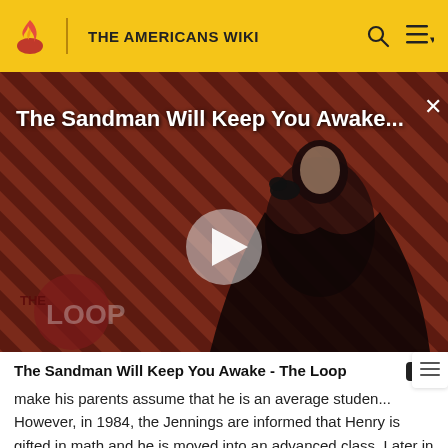THE AMERICANS WIKI
[Figure (screenshot): Video thumbnail for 'The Sandman Will Keep You Awake...' showing a dark-cloaked figure against a red and black diagonal stripe background, with a play button in the center and 'THE LOOP' logo in the lower left corner.]
The Sandman Will Keep You Awake - The Loop
make his parents assume that he is an average studen... However, in 1984, the Jennings are informed that Henry is gifted in math and he is moved into an advanced class. Later in the year, Henry is accepted to an elite private